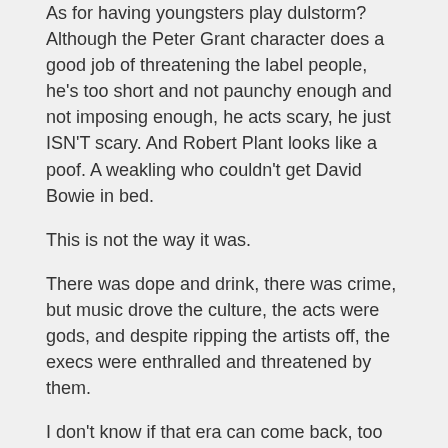As for having youngsters play Dulstorm? Although the Peter Grant character does a good job of threatening the label people, he's too short and not paunchy enough and not imposing enough, he acts scary, he just ISN'T scary. And Robert Plant looks like a poof. A weakling who couldn't get David Bowie in bed.
This is not the way it was.
There was dope and drink, there was crime, but music drove the culture, the acts were gods, and despite ripping the artists off, the execs were enthralled and threatened by them.
I don't know if that era can come back, too much light shines today. We're moving towards transparency, however reluctant the oldsters might be. You just can't do anything illicit anymore. The groupie at the Edgewater Inn would sell mudshark pictures to TMZ.